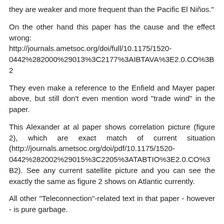they are weaker and more frequent than the Pacific El Niños."
On the other hand this paper has the cause and the effect wrong: http://journals.ametsoc.org/doi/full/10.1175/1520-0442%282000%29013%3C2177%3AIBTAVA%3E2.0.CO%3B2
They even make a reference to the Enfield and Mayer paper above, but still don't even mention word "trade wind" in the paper.
This Alexander at al paper shows correlation picture (figure 2), which are exact match of current situation (http://journals.ametsoc.org/doi/pdf/10.1175/1520-0442%282002%29015%3C2205%3ATABTIO%3E2.0.CO%3B2). See any current satellite picture and you can see the exactly the same as figure 2 shows on Atlantic currently.
All other "Teleconnection"-related text in that paper - however - is pure garbage.